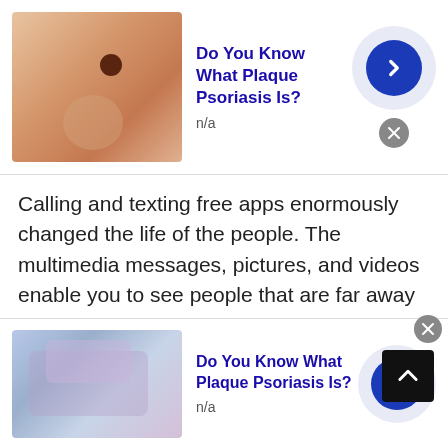[Figure (screenshot): Top advertisement banner: thumbnail of skin/hand with dark spot, title 'Do You Know What Plaque Psoriasis Is?', n/a label, arrow button and close button]
Calling and texting free apps enormously changed the life of the people. The multimedia messages, pictures, and videos enable you to see people that are far away from you. You can send good morning texts to your loved ones daily that will help you to show the importance of that person. If some occasional event comes to your area, then you can easily show these traditions of your culture to the strangers of other 23 nationalities. You can send birthday messages to your partner on the prestigious occasion of their life. The use of selfies is very much trending these
[Figure (screenshot): Bottom advertisement banner: thumbnail of skin/psoriasis image, title 'Do You Know What Plaque Psoriasis Is?', n/a label, arrow button and close button]